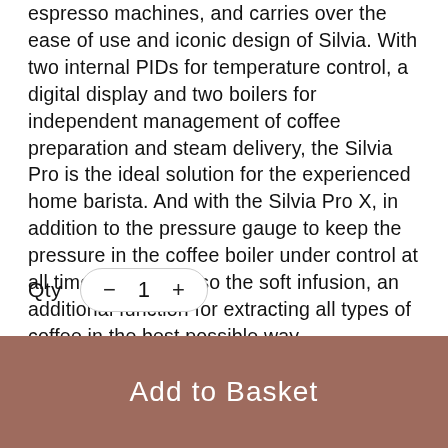espresso machines, and carries over the ease of use and iconic design of Silvia. With two internal PIDs for temperature control, a digital display and two boilers for independent management of coffee preparation and steam delivery, the Silvia Pro is the ideal solution for the experienced home barista. And with the Silvia Pro X, in addition to the pressure gauge to keep the pressure in the coffee boiler under control at all times, there is also the soft infusion, an additional function for extracting all types of coffee in the best possible way
Qty  −  1  +
Add to Basket